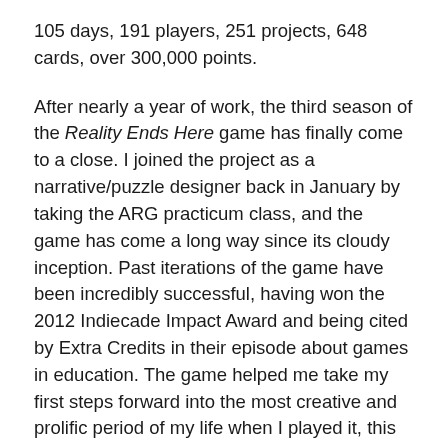105 days, 191 players, 251 projects, 648 cards, over 300,000 points.
After nearly a year of work, the third season of the Reality Ends Here game has finally come to a close. I joined the project as a narrative/puzzle designer back in January by taking the ARG practicum class, and the game has come a long way since its cloudy inception. Past iterations of the game have been incredibly successful, having won the 2012 Indiecade Impact Award and being cited by Extra Credits in their episode about games in education. The game helped me take my first steps forward into the most creative and prolific period of my life when I played it, this year's iteration is a bit different, the air of mystery surrounding the game isn't quite as pronounced due to a multitude of reasons, inhibiting the desired feeling of anarchic excitement